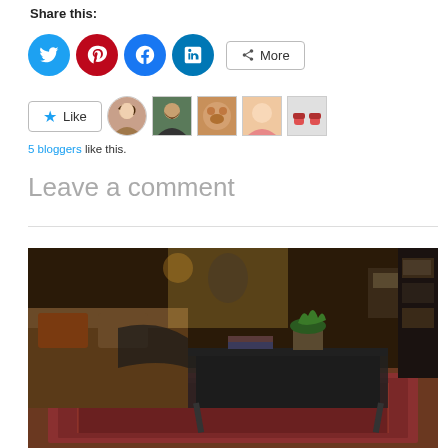Share this:
[Figure (infographic): Social share buttons: Twitter (blue circle), Pinterest (red circle), Facebook (blue circle), LinkedIn (teal circle), and a More button with share icon]
[Figure (infographic): Like button with star icon and 5 blogger avatar thumbnails]
5 bloggers like this.
Leave a comment
[Figure (photo): Interior room photo showing a living room with dark leather sofas, a coffee table with a plant on top, books, and a colorful rug on the floor. The lighting is warm and dim.]